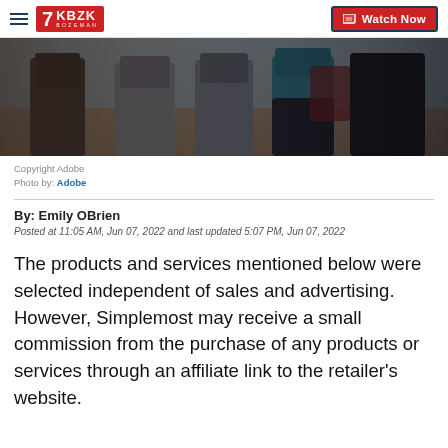KBZK BOZEMAN | Watch Now
[Figure (photo): Close-up photo of people in athletic wear (leggings), stretching outdoors]
Copyright Adobe
Photo by: Adobe
By: Emily OBrien
Posted at 11:05 AM, Jun 07, 2022 and last updated 5:07 PM, Jun 07, 2022
The products and services mentioned below were selected independent of sales and advertising. However, Simplemost may receive a small commission from the purchase of any products or services through an affiliate link to the retailer's website.